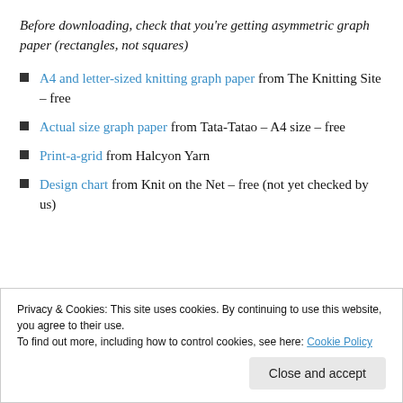Before downloading, check that you're getting asymmetric graph paper (rectangles, not squares)
A4 and letter-sized knitting graph paper from The Knitting Site – free
Actual size graph paper from Tata-Tatao – A4 size – free
Print-a-grid from Halcyon Yarn
Design chart from Knit on the Net – free (not yet checked by us)
Privacy & Cookies: This site uses cookies. By continuing to use this website, you agree to their use. To find out more, including how to control cookies, see here: Cookie Policy
Close and accept
checked by us)